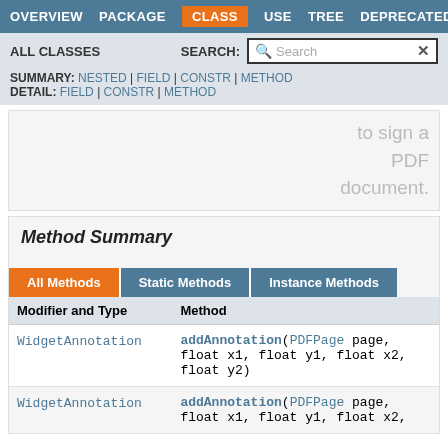OVERVIEW  PACKAGE  CLASS  USE  TREE  DEPRECATED
ALL CLASSES   SEARCH:  [Search]
SUMMARY: NESTED | FIELD | CONSTR | METHOD
DETAIL: FIELD | CONSTR | METHOD
to sign a PDF document.
Method Summary
| Modifier and Type | Method |
| --- | --- |
| WidgetAnnotation | addAnnotation(PDFPage page, float x1, float y1, float x2, float y2) |
| WidgetAnnotation | addAnnotation(PDFPage page, float x1, float y1, float x2, |